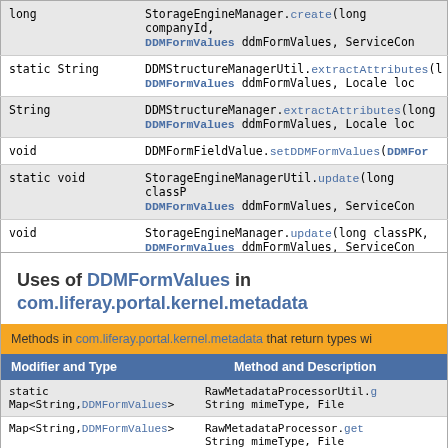| Modifier and Type | Method and Description |
| --- | --- |
| long | StorageEngineManager.create(long companyId, DDMFormValues ddmFormValues, ServiceCon |
| static String | DDMStructureManagerUtil.extractAttributes(l DDMFormValues ddmFormValues, Locale loc |
| String | DDMStructureManager.extractAttributes(long DDMFormValues ddmFormValues, Locale loc |
| void | DDMFormFieldValue.setDDMFormValues(DDMFor |
| static void | StorageEngineManagerUtil.update(long classP DDMFormValues ddmFormValues, ServiceCon |
| void | StorageEngineManager.update(long classPK, DDMFormValues ddmFormValues, ServiceCon |
Uses of DDMFormValues in com.liferay.portal.kernel.metadata
| Modifier and Type | Method and Description |
| --- | --- |
| static Map<String,DDMFormValues> | RawMetadataProcessorUtil.g String mimeType, File |
| Map<String,DDMFormValues> | RawMetadataProcessor.get String mimeType, File |